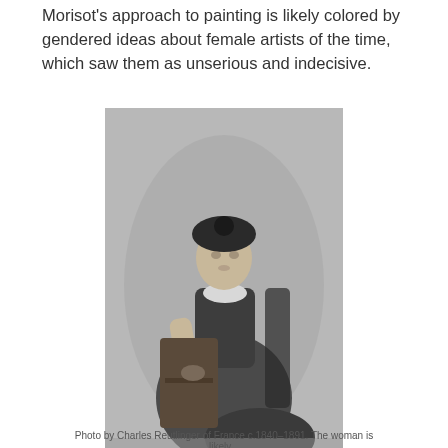Morisot's approach to painting is likely colored by gendered ideas about female artists of the time, which saw them as unserious and indecisive.
[Figure (photo): Black and white photograph of a woman in Victorian-era dress, wearing a decorative hat, leaning against an ornate piece of furniture. She wears a dark formal gown with a white ruffled collar.]
Photo by Charles Reutlinger of France c.1840–1891. The woman is likely...